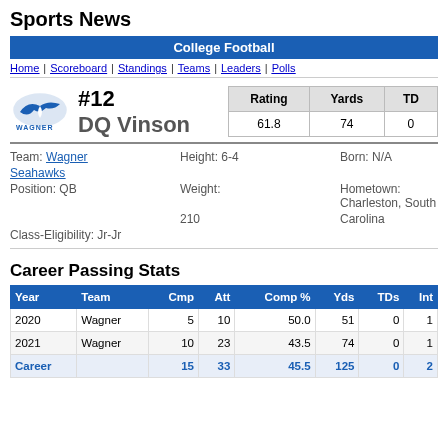Sports News
College Football
Home | Scoreboard | Standings | Teams | Leaders | Polls
#12 DQ Vinson
| Rating | Yards | TD |
| --- | --- | --- |
| 61.8 | 74 | 0 |
Team: Wagner Seahawks
Height: 6-4
Born: N/A
Position: QB
Weight: 210
Hometown: Charleston, South Carolina
Class-Eligibility: Jr-Jr
Career Passing Stats
| Year | Team | Cmp | Att | Comp % | Yds | TDs | Int |
| --- | --- | --- | --- | --- | --- | --- | --- |
| 2020 | Wagner | 5 | 10 | 50.0 | 51 | 0 | 1 |
| 2021 | Wagner | 10 | 23 | 43.5 | 74 | 0 | 1 |
| Career |  | 15 | 33 | 45.5 | 125 | 0 | 2 |